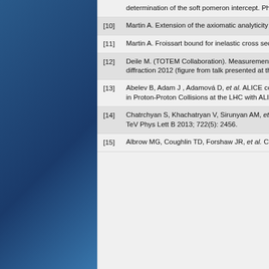[9] determination of the soft pomeron intercept. Phys Lett B 1996; 389: 176-80.
[10] Martin A. Extension of the axiomatic analyticity domain of scattering amplitudes by unitarity I II Nuovo Cimento 1966; 42: 930-53.
[11] Martin A. Froissart bound for inelastic cross sections Phys Rev D 2009; 50: 065013.
[12] Deile M. (TOTEM Collaboration). Measurements of Proton-Proton and Total Cross Section at the LHC by TOTEM Proceedings of diffraction 2012 (figure from talk presented at the Conference)
[13] Abelev B, Adam J , Adamová D, et al. ALICE collaboration. Measurement of Inelastic, Single- and Double-Diffraction Cross Sections in Proton-Proton Collisions at the LHC with ALICE Eur Phys J C 2013; 73: 2456. [arXiv:1208.4968]
[14] Chatrchyan S, Khachatryan V, Sirunyan AM, et al. (CMS Collaboration) Measurement of the inelastic proto-proton cross section at TeV Phys Lett B 2013; 722(5): 2456.
[15] Albrow MG, Coughlin TD, Forshaw JR, et al. Central Exclusive Particle Production at High